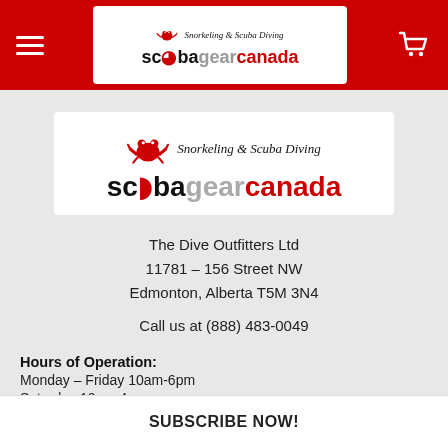Scuba Gear Canada – Snorkeling & Scuba Diving – Navigation bar with logo, hamburger menu, and cart icon
[Figure (logo): Scuba Gear Canada logo: crab icon with text 'Snorkeling & Scuba Diving' above 'scubagearcanada' in black/grey/red]
The Dive Outfitters Ltd
11781 – 156 Street NW
Edmonton, Alberta T5M 3N4
Call us at (888) 483-0049
Hours of Operation:
Monday – Friday 10am-6pm
Saturday 10am-4pm
Closed Most Stat Holidays
SUBSCRIBE NOW!